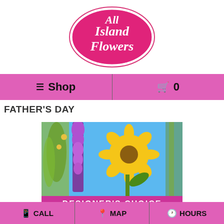[Figure (logo): All Island Flowers logo — oval pink badge with cursive white text]
≡ Shop   🛒 0
FATHER'S DAY
[Figure (photo): Flower arrangement photo showing purple liatris, yellow sunflower, and green stems against blue sky background, with 'DESIGNER'S CHOICE' banner at bottom]
📱 CALL   📍 MAP   🕐 HOURS